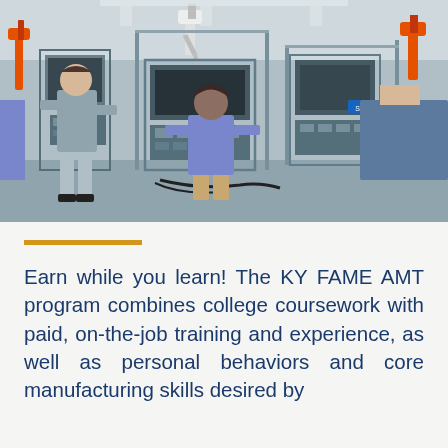[Figure (photo): People working in a manufacturing/industrial training lab with robotic equipment, metal frames, automation workstations. Several men in button-up shirts operating or inspecting machinery. Industrial robots visible in background.]
Earn while you learn! The KY FAME AMT program combines college coursework with paid, on-the-job training and experience, as well as personal behaviors and core manufacturing skills desired by